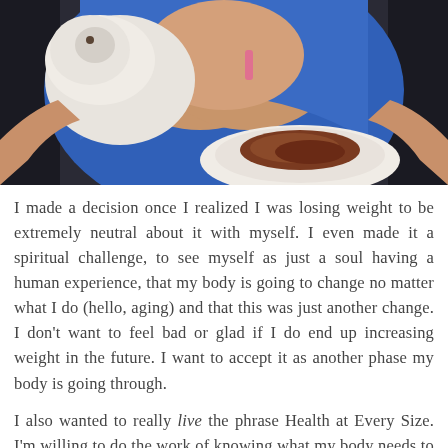[Figure (photo): A woman in a blue top holding a white fluffy object, with a plate of food visible in her lap or in front of her.]
I made a decision once I realized I was losing weight to be extremely neutral about it with myself. I even made it a spiritual challenge, to see myself as just a soul having a human experience, that my body is going to change no matter what I do (hello, aging) and that this was just another change. I don't want to feel bad or glad if I do end up increasing weight in the future. I want to accept it as another phase my body is going through.
I also wanted to really live the phrase Health at Every Size. I'm willing to do the work of knowing what my body needs to feel healthy and do the work to love